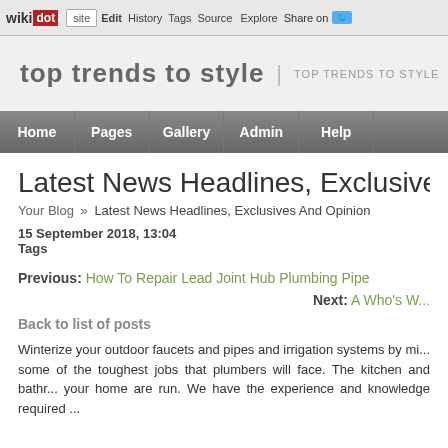wikidot | site | Edit | History | Tags | Source | Explore | Share on
top trends to style | TOP TRENDS TO STYLE
Home | Pages | Gallery | Admin | Help
Latest News Headlines, Exclusives And O...
Your Blog » Latest News Headlines, Exclusives And Opinion
15 September 2018, 13:04
Tags
Previous: How To Repair Lead Joint Hub Plumbing Pipe
Next: A Who's W...
Back to list of posts
Winterize your outdoor faucets and pipes and irrigation systems by mi... some of the toughest jobs that plumbers will face. The kitchen and bathr... your home are run. We have the experience and knowledge required ...